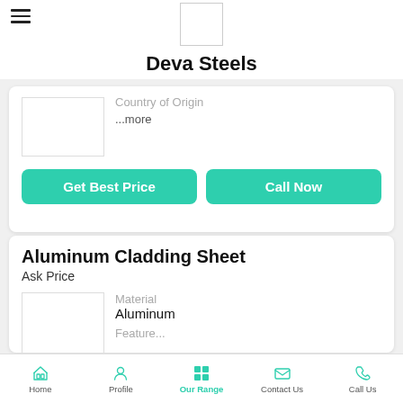[Figure (logo): White square logo placeholder box]
Deva Steels
Country of Origin
...more
Get Best Price
Call Now
Aluminum Cladding Sheet
Ask Price
Material
Aluminum
Featur...
Home   Profile   Our Range   Contact Us   Call Us